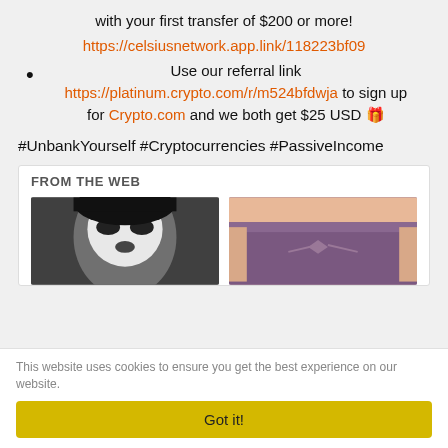with your first transfer of $200 or more!
https://celsiusnetwork.app.link/118223bf09
Use our referral link https://platinum.crypto.com/r/m524bfdwja to sign up for Crypto.com and we both get $25 USD 🎁
#UnbankYourself #Cryptocurrencies #PassiveIncome
FROM THE WEB
[Figure (photo): Black and white photo of a person with white face paint resembling Joker]
[Figure (photo): Close-up photo of a person wearing purple underwear]
This website uses cookies to ensure you get the best experience on our website.
Got it!